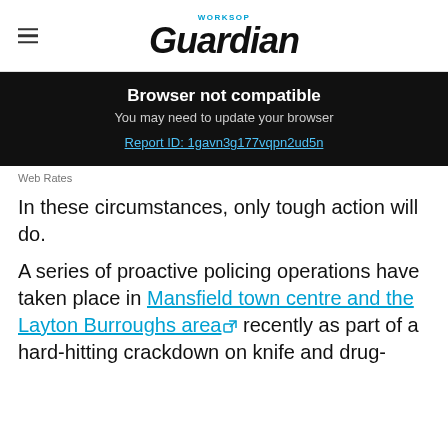WORKSOP Guardian
[Figure (infographic): Browser not compatible warning bar with black background. Title: 'Browser not compatible'. Subtitle: 'You may need to update your browser'. Link: 'Report ID: 1gavn3g177vqpn2ud5n']
Web Rates
In these circumstances, only tough action will do.
A series of proactive policing operations have taken place in Mansfield town centre and the Layton Burroughs area recently as part of a hard-hitting crackdown on knife and drug-